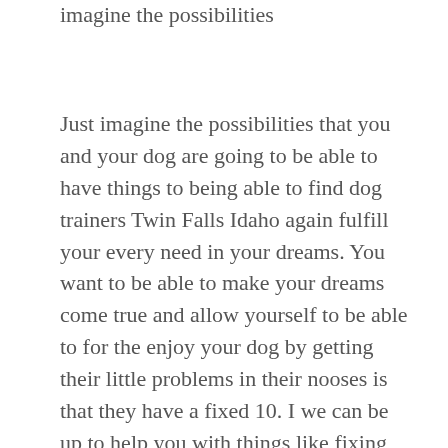imagine the possibilities
Just imagine the possibilities that you and your dog are going to be able to have things to being able to find dog trainers Twin Falls Idaho again fulfill your every need in your dreams. You want to be able to make your dreams come true and allow yourself to be able to for the enjoy your dog by getting their little problems in their nooses is that they have a fixed 10. I we can be up to help you with things like fixing biting, mouthing, nipping, can be of the help to keep your dog from digging through the yard and be able to teach